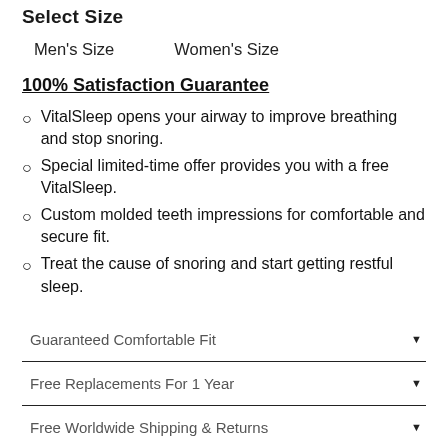Select Size
Men's Size    Women's Size
100% Satisfaction Guarantee
VitalSleep opens your airway to improve breathing and stop snoring.
Special limited-time offer provides you with a free VitalSleep.
Custom molded teeth impressions for comfortable and secure fit.
Treat the cause of snoring and start getting restful sleep.
Guaranteed Comfortable Fit
Free Replacements For 1 Year
Free Worldwide Shipping & Returns